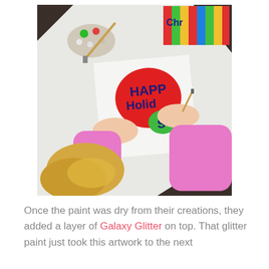[Figure (photo): A child in a pink long-sleeve shirt painting a holiday card that reads 'Happy Holidays' with red and blue paint, sitting at a white table with a paint palette and brushes. Another colorful striped artwork is visible in the upper right corner.]
Once the paint was dry from their creations, they added a layer of Galaxy Glitter on top. That glitter paint just took this artwork to the next